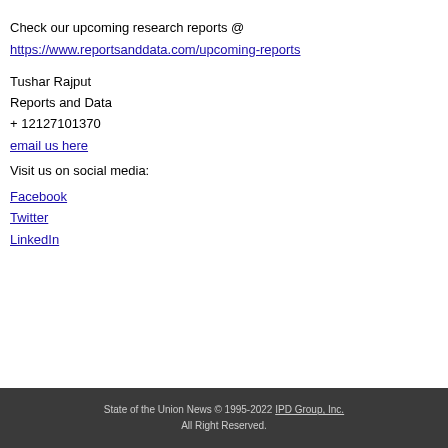Check our upcoming research reports @ https://www.reportsanddata.com/upcoming-reports
Tushar Rajput
Reports and Data
+ 12127101370
email us here
Visit us on social media:
Facebook
Twitter
LinkedIn
State of the Union News © 1995-2022 IPD Group, Inc. All Right Reserved.